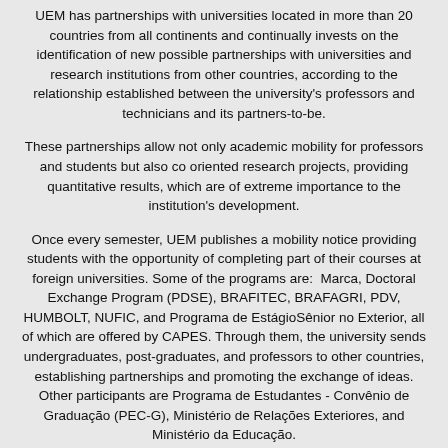UEM has partnerships with universities located in more than 20 countries from all continents and continually invests on the identification of new possible partnerships with universities and research institutions from other countries, according to the relationship established between the university's professors and technicians and its partners-to-be.
These partnerships allow not only academic mobility for professors and students but also co oriented research projects, providing quantitative results, which are of extreme importance to the institution's development.
Once every semester, UEM publishes a mobility notice providing students with the opportunity of completing part of their courses at foreign universities. Some of the programs are: Marca, Doctoral Exchange Program (PDSE), BRAFITEC, BRAFAGRI, PDV, HUMBOLT, NUFIC, and Programa de EstágioSênior no Exterior, all of which are offered by CAPES. Through them, the university sends undergraduates, post-graduates, and professors to other countries, establishing partnerships and promoting the exchange of ideas. Other participants are Programa de Estudantes - Convênio de Graduação (PEC-G), Ministério de Relações Exteriores, and Ministério da Educação.
However, even with the programs currently offered, many university